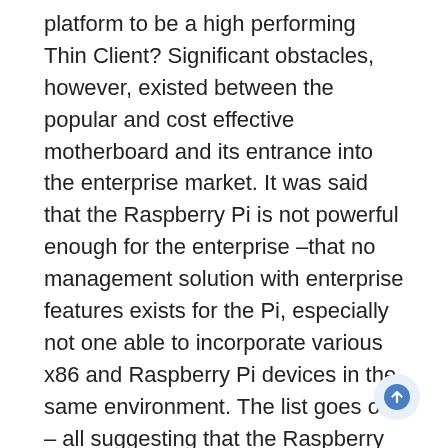platform to be a high performing Thin Client? Significant obstacles, however, existed between the popular and cost effective motherboard and its entrance into the enterprise market. It was said that the Raspberry Pi is not powerful enough for the enterprise –that no management solution with enterprise features exists for the Pi, especially not one able to incorporate various x86 and Raspberry Pi devices in the same environment. The list goes on – all suggesting that the Raspberry Pi is far too limited to be a viable alternative to x86 Thin Clients.
Since then, the Raspberry Pi has become a proven enterprise ready solution thanks to Stratodesk software.